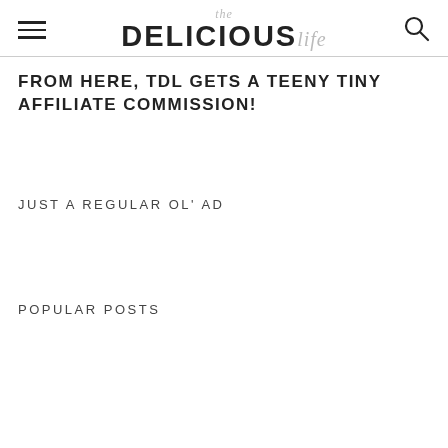the DELICIOUS life
FROM HERE, TDL GETS A TEENY TINY AFFILIATE COMMISSION!
JUST A REGULAR OL' AD
POPULAR POSTS